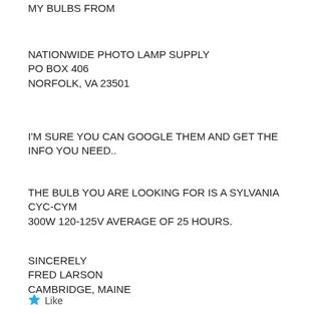MY BULBS FROM
NATIONWIDE PHOTO LAMP SUPPLY
PO BOX 406
NORFOLK, VA 23501
I'M SURE YOU CAN GOOGLE THEM AND GET THE INFO YOU NEED..
THE BULB YOU ARE LOOKING FOR IS A SYLVANIA CYC-CYM
300W 120-125V AVERAGE OF 25 HOURS.
SINCERELY
FRED LARSON
CAMBRIDGE, MAINE
Like